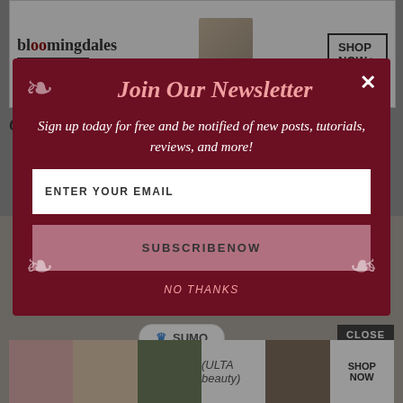[Figure (screenshot): Bloomingdale's advertisement banner at top: logo text, 'View Today's Top Deals!', image of woman in sun hat, SHOP NOW button]
on a headpin
[Figure (screenshot): Newsletter signup modal popup with dark red/maroon background. Title: 'Join Our Newsletter'. Body text: 'Sign up today for free and be notified of new posts, tutorials, reviews, and more!' Email input field with placeholder 'ENTER YOUR EMAIL'. SUBSCRIBENOW button. NO THANKS link. Decorative flourish corners. X close button.]
[Figure (logo): Sumo badge with crown icon and SUMO text]
free pattern from Honey's
[Figure (screenshot): ULTA beauty advertisement strip at bottom with makeup/beauty images and SHOP NOW button. CLOSE button overlay.]